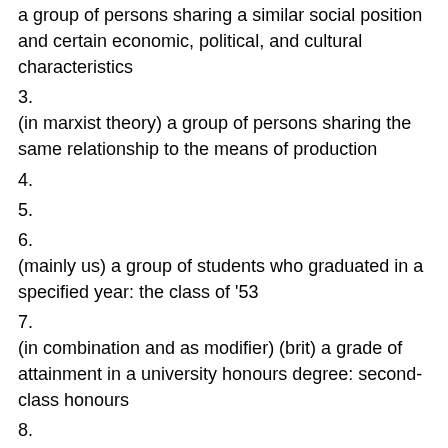a group of persons sharing a similar social position and certain economic, political, and cultural characteristics
3.
(in marxist theory) a group of persons sharing the same relationship to the means of production
4.
5.
6.
(mainly us) a group of students who graduated in a specified year: the class of ’53
7.
(in combination and as modifier) (brit) a grade of attainment in a university honours degree: second-class honours
8.
one of several standards of accommodation in public transport see also first class, second class, third class
9.
10.